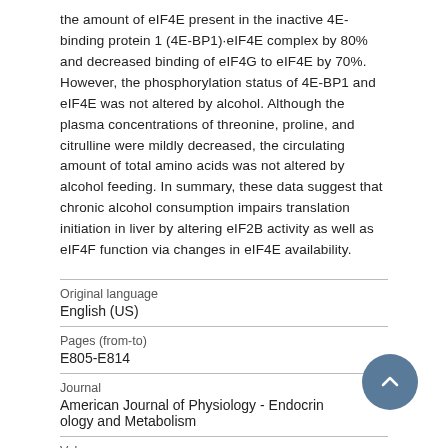the amount of eIF4E present in the inactive 4E-binding protein 1 (4E-BP1)·eIF4E complex by 80% and decreased binding of eIF4G to eIF4E by 70%. However, the phosphorylation status of 4E-BP1 and eIF4E was not altered by alcohol. Although the plasma concentrations of threonine, proline, and citrulline were mildly decreased, the circulating amount of total amino acids was not altered by alcohol feeding. In summary, these data suggest that chronic alcohol consumption impairs translation initiation in liver by altering eIF2B activity as well as eIF4F function via changes in eIF4E availability.
| Field | Value |
| --- | --- |
| Original language | English (US) |
| Pages (from-to) | E805-E814 |
| Journal | American Journal of Physiology - Endocrinology and Metabolism |
| Volume |  |